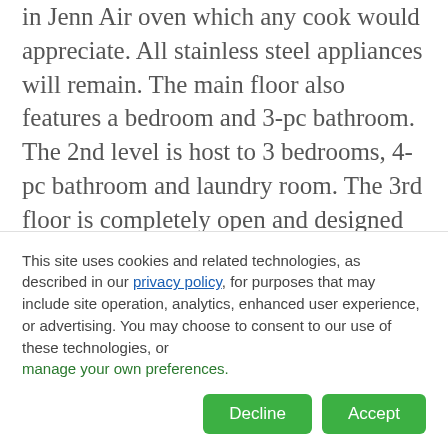in Jenn Air oven which any cook would appreciate. All stainless steel appliances will remain. The main floor also features a bedroom and 3-pc bathroom. The 2nd level is host to 3 bedrooms, 4-pc bathroom and laundry room. The 3rd floor is completely open and designed for the master bedroom with a large en-suite roughed in and walk in closets. This beautiful home has had a ton of renovations taking it back to the studs. New windows, insulation, support, wiring, plumbing,
This site uses cookies and related technologies, as described in our privacy policy, for purposes that may include site operation, analytics, enhanced user experience, or advertising. You may choose to consent to our use of these technologies, or manage your own preferences.